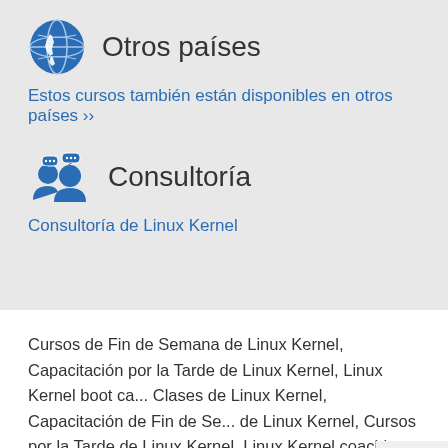Otros países
Estos cursos también están disponibles en otros países ››
Consultoría
Consultoría de Linux Kernel
Cursos de Fin de Semana de Linux Kernel, Capacitación por la Tarde de Linux Kernel, Linux Kernel boot ca... Clases de Linux Kernel, Capacitación de Fin de Se... de Linux Kernel, Cursos por la Tarde de Linux Kernel, Linux Kernel coaching, Instructor de Linux Kernel, Capacitador de Linux Kernel, Linux Kernel con instructor,